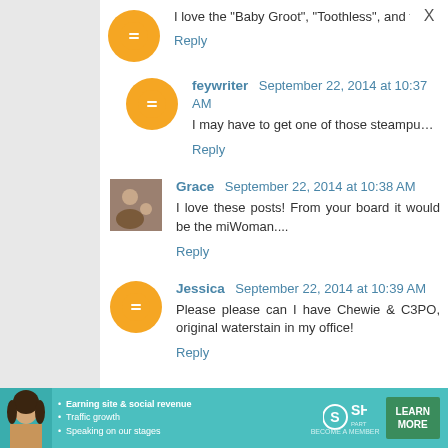I love the "Baby Groot", "Toothless", and the TARDIS "Belie
Reply
feywriter  September 22, 2014 at 10:37 AM
I may have to get one of those steampunk dragon prints for
Reply
Grace  September 22, 2014 at 10:38 AM
I love these posts! From your board it would be the mi... Woman....
Reply
Jessica  September 22, 2014 at 10:39 AM
Please please can I have Chewie & C3PO, original waterc... stain in my office!
Reply
[Figure (infographic): SHE Partner Network advertisement banner with photo of woman, bullet points about earning site & social revenue, traffic growth, speaking on our stages, SHE logo, and LEARN MORE button]